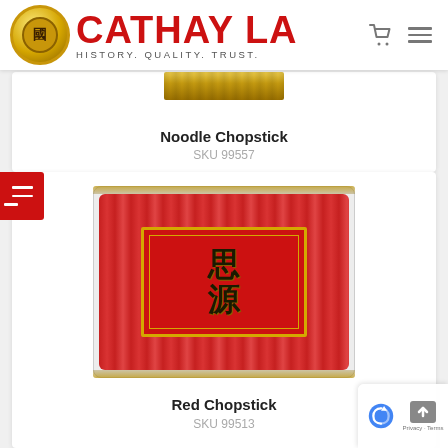CATHAY LA — HISTORY. QUALITY. TRUST.
[Figure (photo): Partial product photo of Noodle Chopstick at top of card]
Noodle Chopstick
SKU 99557
[Figure (photo): Product photo showing a package of Red Chopsticks with red packaging and Chinese characters]
Red Chopstick
SKU 99513